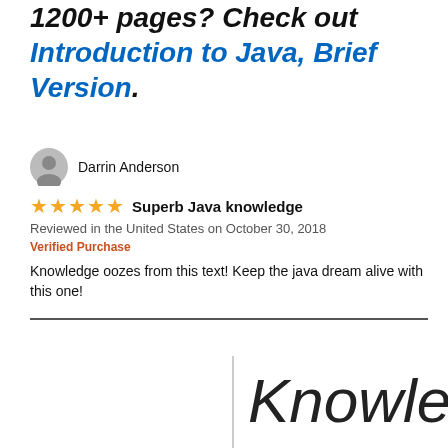1200+ pages? Check out Introduction to Java, Brief Version.
Darrin Anderson
★★★★★  Superb Java knowledge
Reviewed in the United States on October 30, 2018
Verified Purchase
Knowledge oozes from this text! Keep the java dream alive with this one!
Knowledge